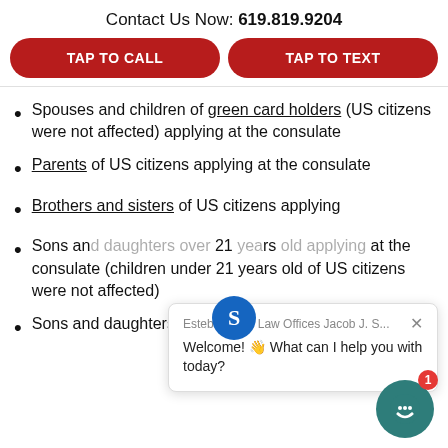Contact Us Now: 619.819.9204
TAP TO CALL
TAP TO TEXT
Spouses and children of green card holders (US citizens were not affected) applying at the consulate
Parents of US citizens applying at the consulate
Brothers and sisters of US citizens applying
Sons and [daughters over] 21 [yea]rs [old applying] at the consulate (children under 21 years old of US citizens were not affected)
Sons and daughters (meaning over